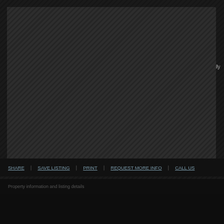[Figure (photo): Property listing image showing a house outline/sketch with teal/blue image strips and MORE PHOTOS button below]
155 Station Road
Wallace Bridge, NS
MLS #: 201519510
CONDITIONAL
P.A.C. River lots are now conditional. Lots on governmentally maintained Station Road.
Footer navigation bar with listing links